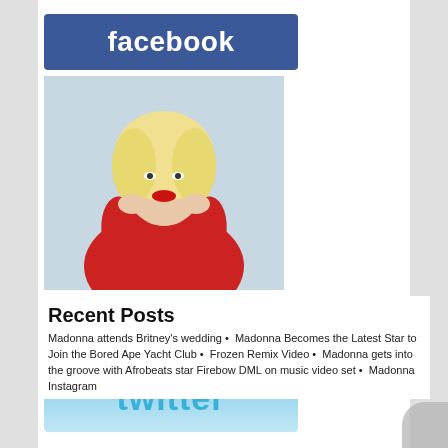[Figure (logo): Facebook logo — white text 'facebook' on blue background]
[Figure (photo): Madonalicious Facebook page image: woman with blonde hair in red outfit posing with hands near face, text MADONALICIOUS below with blue separator bar]
[Figure (logo): Twitter logo — sky blue background with 'twitter' text in light blue]
Recent Posts
Madonna attends Britney's wedding • Madonna Becomes the Latest Star to Join the Bored Ape Yacht Club • Frozen Remix Video • Madonna gets into the groove with Afrobeats star Firebow DML on music video set • Madonna Instagram